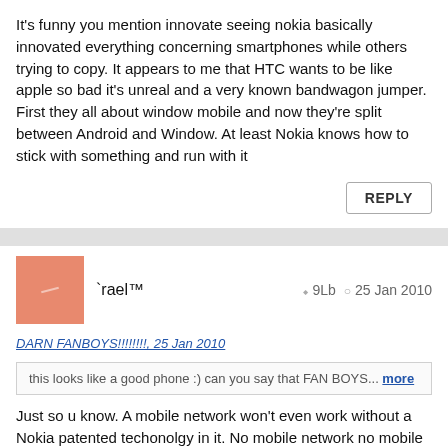It's funny you mention innovate seeing nokia basically innovated everything concerning smartphones while others trying to copy. It appears to me that HTC wants to be like apple so bad it's unreal and a very known bandwagon jumper. First they all about window mobile and now they're split between Android and Window. At least Nokia knows how to stick with something and run with it
REPLY
rael™  9Lb  25 Jan 2010
DARN FANBOYS!!!!!!!!, 25 Jan 2010
this looks like a good phone :) can you say that FAN BOYS... more
Just so u know. A mobile network won't even work without a Nokia patented techonolgy in it. No mobile network no mobile phones. ^^
REPLY